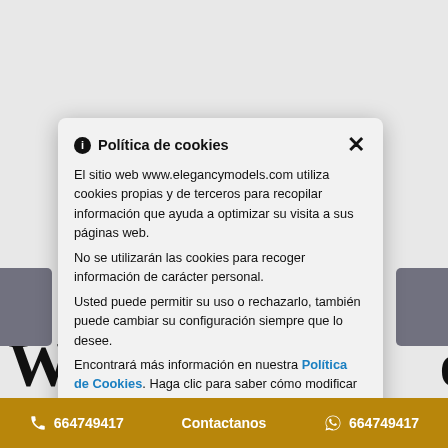[Figure (screenshot): Cookie consent modal overlay on a Spanish website (www.elegancymodels.com) with title 'Política de cookies', body text explaining cookie usage, links to cookie policy, and a close X button. Background shows partial large heading text 'W...or tantric massage?' with side navigation buttons and a gold footer bar with phone number 664749417 and WhatsApp contact.]
Política de cookies
El sitio web www.elegancymodels.com utiliza cookies propias y de terceros para recopilar información que ayuda a optimizar su visita a sus páginas web.
No se utilizarán las cookies para recoger información de carácter personal.
Usted puede permitir su uso o rechazarlo, también puede cambiar su configuración siempre que lo desee.
Encontrará más información en nuestra Política de Cookies. Haga clic para saber cómo modificar su configuración de cookies. Política de cookies .
Wi or tantric massage?
664749417   Contactanos   664749417